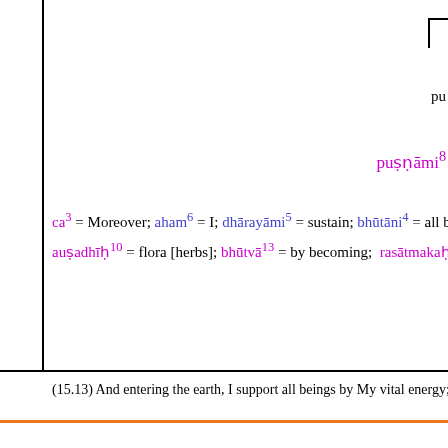pu
puṣṇāmi⁸
ca³ = Moreover; aham⁶ = I; dhārayāmi⁵ = sustain; bhūtāni⁴ = all being; auṣadhīḥ¹⁰ = flora [herbs]; bhūtvā¹³ = by becoming; rasātmakaḥ¹⁴ =
(15.13) And entering the earth, I support all beings by My vital energy;